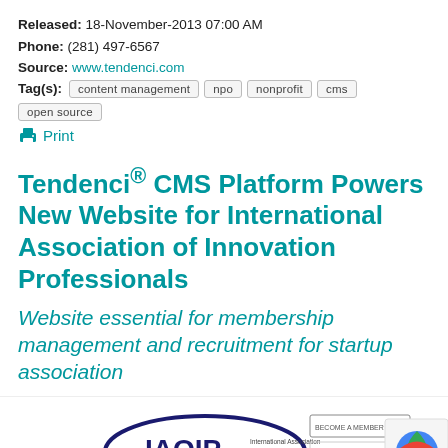Released: 18-November-2013 07:00 AM
Phone: (281) 497-6567
Source: www.tendenci.com
Tag(s): content management  npo  nonprofit  cms  open source
Print
Tendenci® CMS Platform Powers New Website for International Association of Innovation Professionals
Website essential for membership management and recruitment for startup association
[Figure (screenshot): Screenshot of IAOIP website showing the International Association of Innovation Professionals logo, navigation bar with About, Membership, Careers & Training, Events, News, Research, Contact, and a 'Become a Member' button. Also shows a reCAPTCHA privacy overlay in the bottom right corner.]